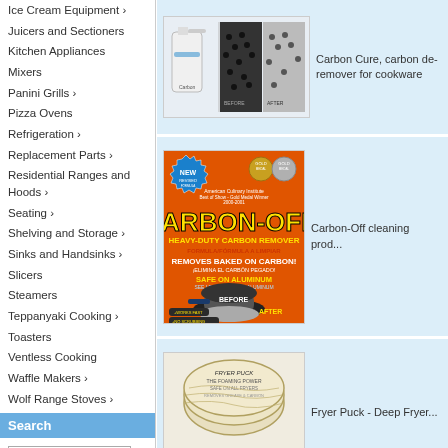Ice Cream Equipment ›
Juicers and Sectioners
Kitchen Appliances
Mixers
Panini Grills ›
Pizza Ovens
Refrigeration ›
Replacement Parts ›
Residential Ranges and Hoods ›
Seating ›
Shelving and Storage ›
Sinks and Handsinks ›
Slicers
Steamers
Teppanyaki Cooking ›
Toasters
Ventless Cooking
Waffle Makers ›
Wolf Range Stoves ›
Search
Manufacturers
Shopping Cart
[Figure (photo): Carbon Cure product: spray bottle next to before/after image of carbon deposits on cookware surface]
Carbon Cure, carbon de- remover for cookware
[Figure (photo): Carbon-Off! Heavy-Duty Carbon Remover product packaging showing before and after on a pan, orange background]
Carbon-Off cleaning prod...
[Figure (photo): Fryer Puck product - wrapped foaming powder puck for deep fryer cleaning]
Fryer Puck - Deep Fryer...